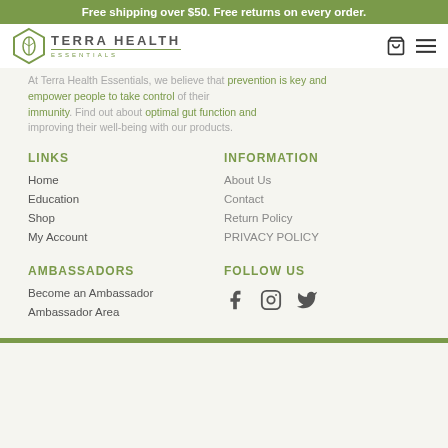Free shipping over $50. Free returns on every order.
[Figure (logo): Terra Health Essentials logo with hexagonal leaf icon and text]
At Terra Health Essentials, we believe that prevention is key and empower people to take control of their immunity. Find out about optimal gut function and improving their well-being with our products.
LINKS
INFORMATION
Home
About Us
Education
Contact
Shop
Return Policy
My Account
PRIVACY POLICY
AMBASSADORS
FOLLOW US
Become an Ambassador
[Figure (infographic): Social media icons: Facebook, Instagram, Twitter]
Ambassador Area